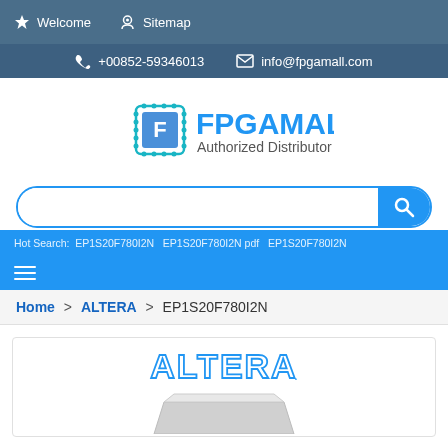Welcome   Sitemap
+00852-59346013   info@fpgamall.com
[Figure (logo): FPGAMALL Authorized Distributor logo with chip icon]
[Figure (screenshot): Search bar with magnifying glass button]
Hot Search: EP1S20F780I2N   EP1S20F780I2N pdf   EP1S20F780I2N
Home > ALTERA > EP1S20F780I2N
[Figure (logo): ALTERA logo and product chip image]